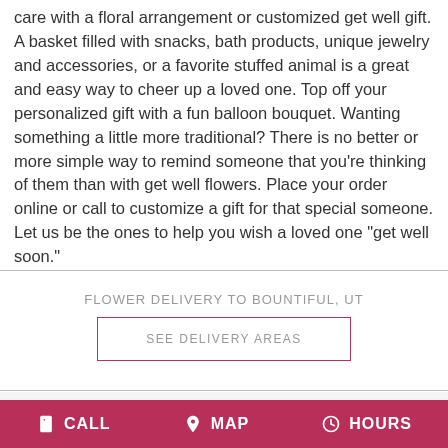care with a floral arrangement or customized get well gift. A basket filled with snacks, bath products, unique jewelry and accessories, or a favorite stuffed animal is a great and easy way to cheer up a loved one. Top off your personalized gift with a fun balloon bouquet. Wanting something a little more traditional? There is no better or more simple way to remind someone that you're thinking of them than with get well flowers. Place your order online or call to customize a gift for that special someone. Let us be the ones to help you wish a loved one "get well soon."
FLOWER DELIVERY TO BOUNTIFUL, UT
SEE DELIVERY AREAS
ABOUT US
CALL  MAP  HOURS